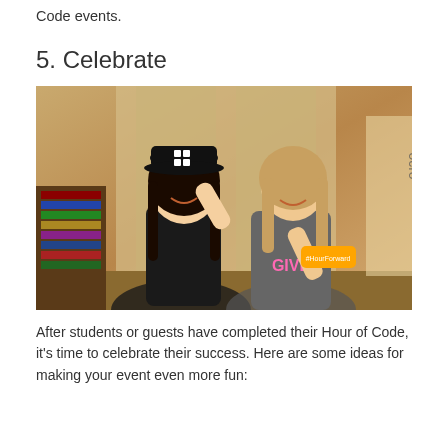Code events.
5. Celebrate
[Figure (photo): Two smiling girls posing in what appears to be a library or classroom setting. The girl on the left wears a black cap with a logo and a black shirt. The girl on the right holds up an orange #HourForward item and wears a shirt with 'GIVE' printed on it.]
After students or guests have completed their Hour of Code, it's time to celebrate their success. Here are some ideas for making your event even more fun: